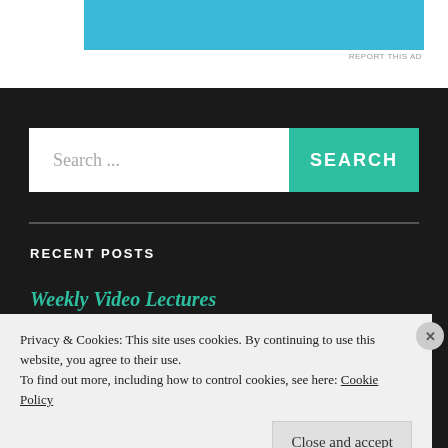[Figure (other): Teal/blue ad banner at the top of the page with 'REPORT THIS AD' text below it]
Search ...
SEARCH
RECENT POSTS
Weekly Video Lectures
Privacy & Cookies: This site uses cookies. By continuing to use this website, you agree to their use.
To find out more, including how to control cookies, see here: Cookie Policy
Close and accept